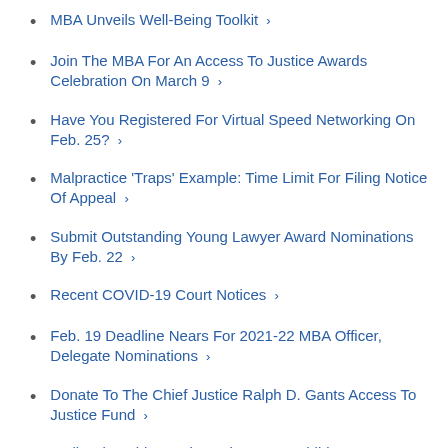MBA Unveils Well-Being Toolkit ›
Join The MBA For An Access To Justice Awards Celebration On March 9 ›
Have You Registered For Virtual Speed Networking On Feb. 25? ›
Malpractice 'Traps' Example: Time Limit For Filing Notice Of Appeal ›
Submit Outstanding Young Lawyer Award Nominations By Feb. 22 ›
Recent COVID-19 Court Notices ›
Feb. 19 Deadline Nears For 2021-22 MBA Officer, Delegate Nominations ›
Donate To The Chief Justice Ralph D. Gants Access To Justice Fund ›
Well-Being This Week: Reduce Your Children's Pandemic Stress ›